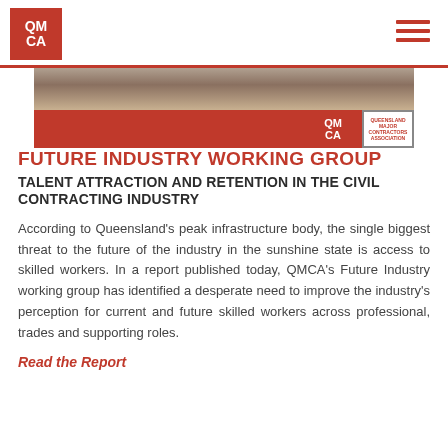QMCA
[Figure (photo): Banner photo showing construction workers, with a red strip below containing the QMCA logo and Queensland Contractors Association logo]
FUTURE INDUSTRY WORKING GROUP
TALENT ATTRACTION AND RETENTION IN THE CIVIL CONTRACTING INDUSTRY
According to Queensland’s peak infrastructure body, the single biggest threat to the future of the industry in the sunshine state is access to skilled workers. In a report published today, QMCA’s Future Industry working group has identified a desperate need to improve the industry’s perception for current and future skilled workers across professional, trades and supporting roles.
Read the Report